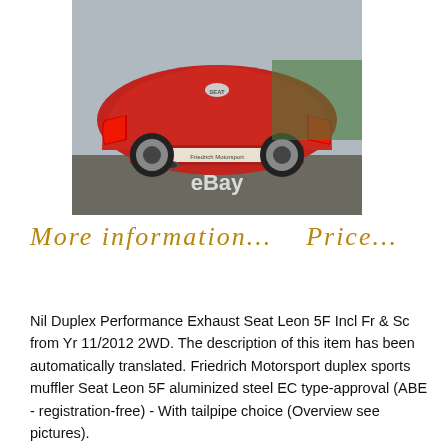[Figure (photo): Rear view of a red Seat Leon 5F car parked outdoors, with an eBay watermark overlay. License plate area shows a Friedrich Motorsport sticker.]
More information...    Price...
Nil Duplex Performance Exhaust Seat Leon 5F Incl Fr & Sc from Yr 11/2012 2WD. The description of this item has been automatically translated. Friedrich Motorsport duplex sports muffler Seat Leon 5F aluminized steel EC type-approval (ABE - registration-free) - With tailpipe choice (Overview see pictures).
Suitable for: Seat Leon 5F incl. FR & SC from BJ. 11/2012 front-wheel drive 1.4 l TSI 110kW Duplex variants are also for the seat aerodynamic-enhancement Kit, Cupra-&